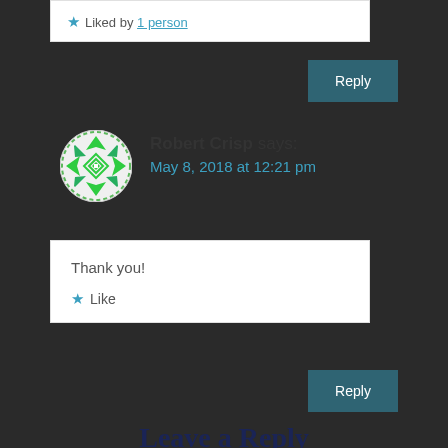★ Liked by 1 person
Reply
Robert Crisp says:
May 8, 2018 at 12:21 pm
Thank you!
★ Like
Reply
Leave a Reply